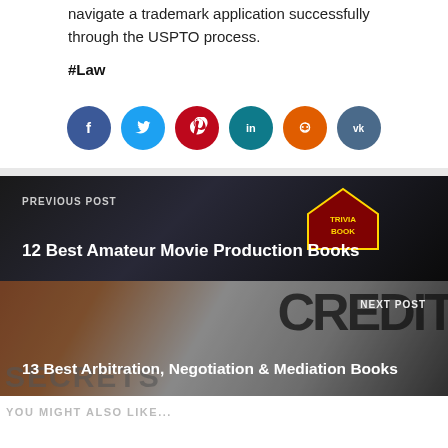navigate a trademark application successfully through the USPTO process.
#Law
[Figure (infographic): Row of 6 social media share buttons (circular icons): Facebook (blue), Twitter (light blue), Pinterest (red), LinkedIn (teal), Reddit (orange), VK (dark teal)]
[Figure (photo): Previous post banner with dark background, Trivia Book themed image, label PREVIOUS POST, title: 12 Best Amateur Movie Production Books]
[Figure (photo): Next post banner with Credit Secrets book image, label NEXT POST, title: 13 Best Arbitration, Negotiation & Mediation Books]
YOU MIGHT ALSO LIKE...